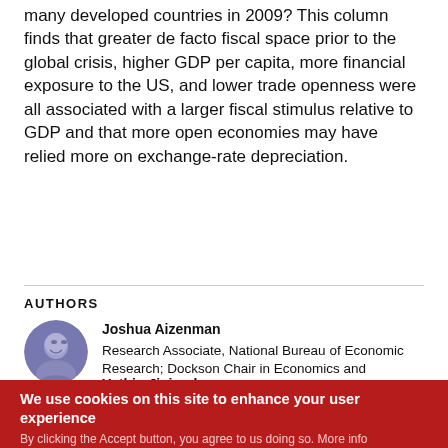many developed countries in 2009? This column finds that greater de facto fiscal space prior to the global crisis, higher GDP per capita, more financial exposure to the US, and lower trade openness were all associated with a larger fiscal stimulus relative to GDP and that more open economies may have relied more on exchange-rate depreciation.
AUTHORS
Joshua Aizenman
Research Associate, National Bureau of Economic Research; Dockson Chair in Economics and International Relations, University of Hong Kong
Yothin Jinjarak
Associate Professor, School of Economics and Finance, Victoria University of Wellington
We use cookies on this site to enhance your user experience
By clicking the Accept button, you agree to us doing so. More info